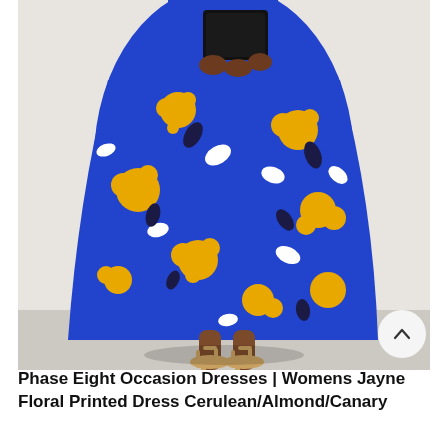[Figure (photo): A woman wearing a blue floral printed midi dress with yellow, white and dark flowers, holding a black clutch bag, wearing gold strappy heeled sandals. Photographed against a white/grey background, cropped from waist down.]
Phase Eight Occasion Dresses | Womens Jayne Floral Printed Dress Cerulean/Almond/Canary